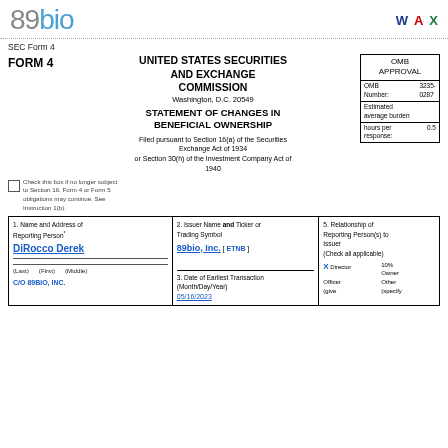[Figure (logo): 89bio company logo in gray with blue letters]
W  A  X (header icons for Word, Acrobat, Excel)
SEC Form 4
FORM 4    UNITED STATES SECURITIES AND EXCHANGE COMMISSION
Washington, D.C. 20549
OMB APPROVAL
OMB Number: 3235-0287
Estimated average burden hours per response: 0.5
STATEMENT OF CHANGES IN BENEFICIAL OWNERSHIP
Filed pursuant to Section 16(a) of the Securities Exchange Act of 1934
or Section 30(h) of the Investment Company Act of 1940
Check this box if no longer subject to Section 16. Form 4 or Form 5 obligations may continue. See Instruction 1(b).
| 1. Name and Address of Reporting Person* | 2. Issuer Name and Ticker or Trading Symbol | 5. Relationship of Reporting Person(s) to Issuer |
| --- | --- | --- |
| DiRocco Derek
(Last) (First) (Middle)
C/O 89BIO, INC. | 89bio, Inc. [ ETNB ] | Check all applicable)
X Director  10% Owner
Officer (give  Other (specify) |
3. Date of Earliest Transaction (Month/Day/Year)
05/16/2023